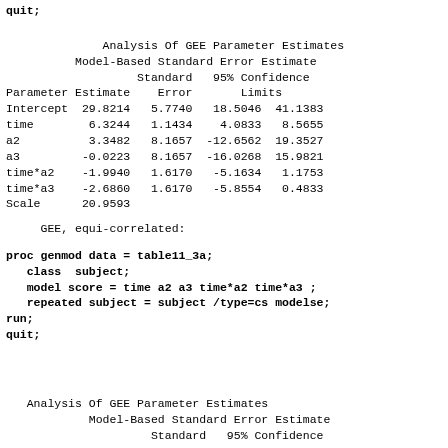quit;
| Parameter | Estimate | Standard Error | 95% Confidence Limits (low) | 95% Confidence Limits (high) |
| --- | --- | --- | --- | --- |
| Intercept | 29.8214 | 5.7740 | 18.5046 | 41.1383 |
| time | 6.3244 | 1.1434 | 4.0833 | 8.5655 |
| a2 | 3.3482 | 8.1657 | -12.6562 | 19.3527 |
| a3 | -0.0223 | 8.1657 | -16.0268 | 15.9821 |
| time*a2 | -1.9940 | 1.6170 | -5.1634 | 1.1753 |
| time*a3 | -2.6860 | 1.6170 | -5.8554 | 0.4833 |
| Scale | 20.9593 |  |  |  |
GEE, equi-correlated:
proc genmod data = table11_3a;
   class  subject;
   model score = time a2 a3 time*a2 time*a3 ;
   repeated subject = subject /type=cs modelse;
run;
quit;
Analysis Of GEE Parameter Estimates
         Model-Based Standard Error Estimate
                  Standard   95% Confidence